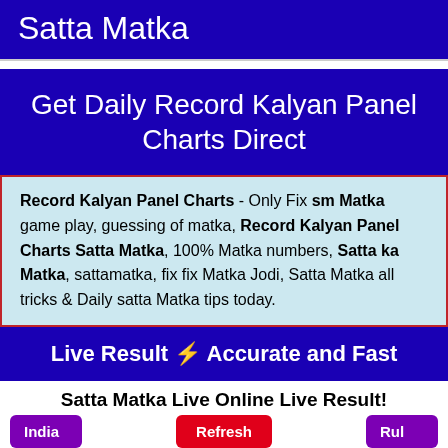Satta Matka
Get Daily Record Kalyan Panel Charts Direct
Record Kalyan Panel Charts - Only Fix sm Matka game play, guessing of matka, Record Kalyan Panel Charts Satta Matka, 100% Matka numbers, Satta ka Matka, sattamatka, fix fix Matka Jodi, Satta Matka all tricks & Daily satta Matka tips today.
Live Result ⚡ Accurate and Fast
Satta Matka Live Online Live Result!
KALYAN
689-31-128